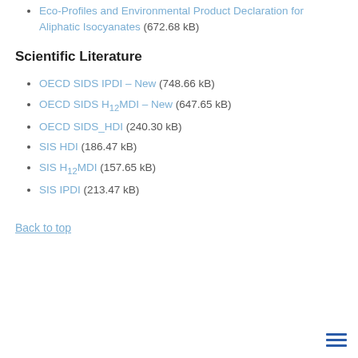Eco-Profiles and Environmental Product Declaration for Aliphatic Isocyanates (672.68 kB)
Scientific Literature
OECD SIDS IPDI – New (748.66 kB)
OECD SIDS H12MDI – New (647.65 kB)
OECD SIDS_HDI (240.30 kB)
SIS HDI (186.47 kB)
SIS H12MDI (157.65 kB)
SIS IPDI (213.47 kB)
Back to top